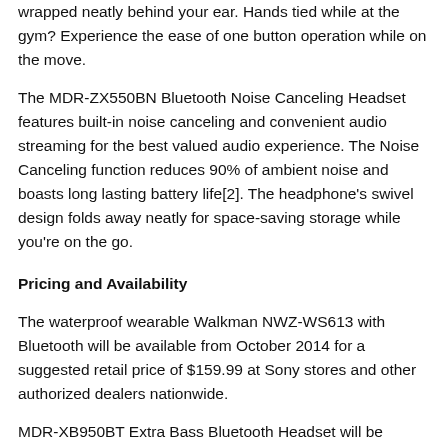wrapped neatly behind your ear. Hands tied while at the gym? Experience the ease of one button operation while on the move.
The MDR-ZX550BN Bluetooth Noise Canceling Headset features built-in noise canceling and convenient audio streaming for the best valued audio experience. The Noise Canceling function reduces 90% of ambient noise and boasts long lasting battery life[2]. The headphone's swivel design folds away neatly for space-saving storage while you're on the go.
Pricing and Availability
The waterproof wearable Walkman NWZ-WS613 with Bluetooth will be available from October 2014 for a suggested retail price of $159.99 at Sony stores and other authorized dealers nationwide.
MDR-XB950BT Extra Bass Bluetooth Headset will be available mid-September 2014 for a suggested retail price of $199.99 at Sony stores and other authorized dealers nationwide.
MDR-AS800BT Active Sports Bluetooth Headset will be available mid-September 2014 for a suggested retail price of $149.99 at Sony stores and